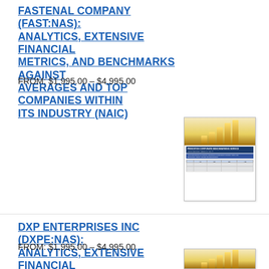FASTENAL COMPANY (FAST:NAS): ANALYTICS, EXTENSIVE FINANCIAL METRICS, AND BENCHMARKS AGAINST AVERAGES AND TOP COMPANIES WITHIN ITS INDUSTRY (NAIC)
FROM: $1,995.00 – $4,995.00
[Figure (illustration): Thumbnail image of a financial report cover page featuring gold bar chart graphic and a data table below it.]
DXP ENTERPRISES INC (DXPE:NAS): ANALYTICS, EXTENSIVE FINANCIAL METRICS, AND BENCHMARKS AGAINST AVERAGES AND TOP COMPANIES WITHIN ITS INDUSTRY (NAIC)
FROM: $1,995.00 – $4,995.00
[Figure (illustration): Thumbnail image of a financial report cover page featuring gold bar chart graphic (partially visible).]